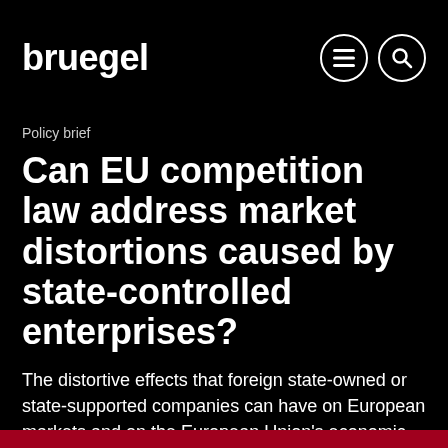bruegel
Policy brief
Can EU competition law address market distortions caused by state-controlled enterprises?
The distortive effects that foreign state-owned or state-supported companies can have on European markets and on the European Union's economic autonom